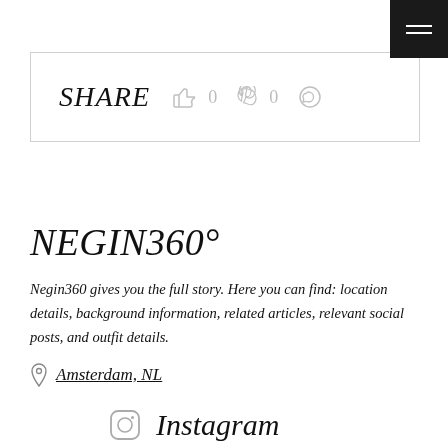[Figure (other): Black hamburger menu button in top-right corner with three white horizontal lines]
SHARE  0  0
NEGIN360°
Negin360 gives you the full story. Here you can find: location details, background information, related articles, relevant social posts, and outfit details.
Amsterdam, NL
Instagram